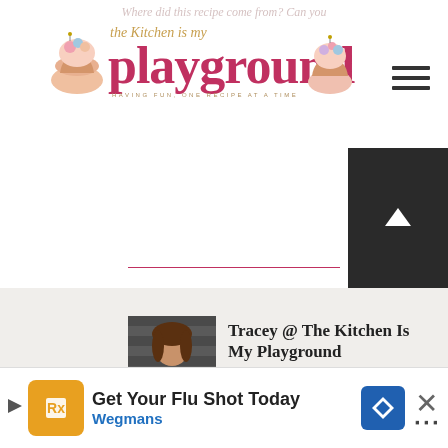[Figure (logo): The Kitchen Is My Playground blog logo with pink cursive/serif text, cupcake illustrations, and tagline 'HAVING FUN, ONE RECIPE AT A TIME']
Where did this recipe come from? Can you
Tracey @ The Kitchen Is My Playground
April 9, 2013 at 5:34 PM
The source is noted right below the recipe title ... 'a friend.' I have idea where she got the recipe.
[Figure (infographic): WHAT'S NEXT arrow with thumbnail image and text '3-Ingredient Crescent...']
[Figure (screenshot): Advertisement banner: 'Get Your Flu Shot Today' Wegmans ad with orange icon, blue navigation icon, and close button]